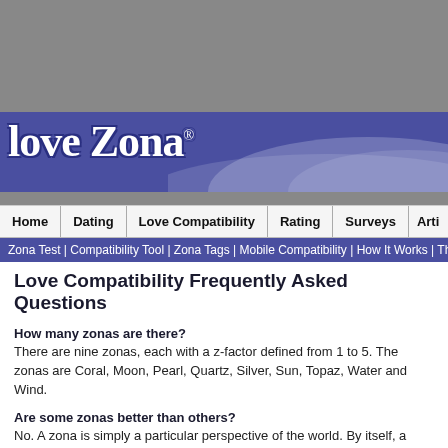[Figure (screenshot): Gray top area bar]
Love Zona
[Figure (screenshot): Navigation bar with Home | Dating | Love Compatibility | Rating | Surveys | Arti...]
Zona Test | Compatibility Tool | Zona Tags | Mobile Compatibility | How It Works | The Science
Love Compatibility Frequently Asked Questions
How many zonas are there?
There are nine zonas, each with a z-factor defined from 1 to 5. The zonas are Coral, Moon, Pearl, Quartz, Silver, Sun, Topaz, Water and Wind.
Are some zonas better than others?
No. A zona is simply a particular perspective of the world. By itself, a zona has no intrinsic value.
Are zonas listed the only zonas I'm compatible with?
There are 45 zona/z-factor combinations. Only the most compatible zonas are listed. There will zonas that are not listed that have some degree of compatibility.
Can your zona change throughout your life?
As we experience new things our perspective of the world is subject to change. Certain